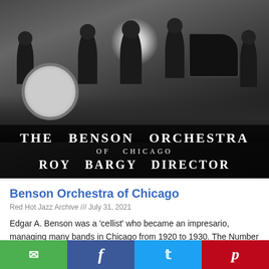[Figure (photo): Black and white photograph of The Benson Orchestra of Chicago with Roy Bargy as Director. Several musicians in formal attire with instruments including saxophone, clarinet, drums, and other instruments. Text overlay at bottom reads: THE BENSON ORCHESTRA OF CHICAGO ROY BARGY DIRECTOR.]
Benson Orchestra of Chicago
Red Hot Jazz Archive /// July 31, 2021
Edgar A. Benson was a 'cellist' who became an impresario, managing many bands in Chicago from 1920 to 1930. The Number One orchestra was originally